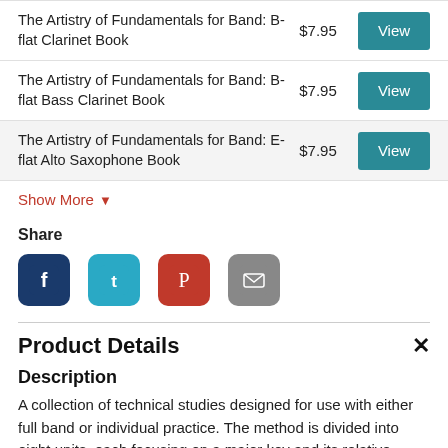| Product | Price | Action |
| --- | --- | --- |
| The Artistry of Fundamentals for Band: B-flat Clarinet Book | $7.95 | View |
| The Artistry of Fundamentals for Band: B-flat Bass Clarinet Book | $7.95 | View |
| The Artistry of Fundamentals for Band: E-flat Alto Saxophone Book | $7.95 | View |
Show More ▾
Share
[Figure (infographic): Social share icons: Facebook, Twitter, Pinterest, Email]
Product Details
Description
A collection of technical studies designed for use with either full band or individual practice. The method is divided into eight units, each focusing on a major key and its relative minor key and includes such studies as chorales, scale studies, arpeggio